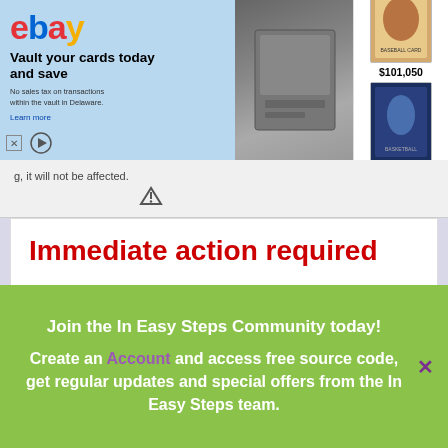[Figure (screenshot): eBay advertisement banner: 'Vault your cards today and save. No sales tax on transactions within the vault in Delaware.' with two trading cards shown, priced at $101,050 and $49,999.99]
g, it will not be affected.
Immediate action required
There are some important changes to OneDrive, and we wanted to follow up on our previous email to ensure you are aware of them. On July 27, 2016, the amount of storage that comes with your OneDrive will change from 15 GB to 5 GB. We are also discontinuing the 15 GB camera roll bonus.
How this affects you
As a result of these changes, you will be over your storage limit (visit the Storage page to check your account). If you don't bring your OneDrive content under the
Join the In Easy Steps Community today!
Create an Account and access free source code, get regular updates and special offers from the In Easy Steps team.